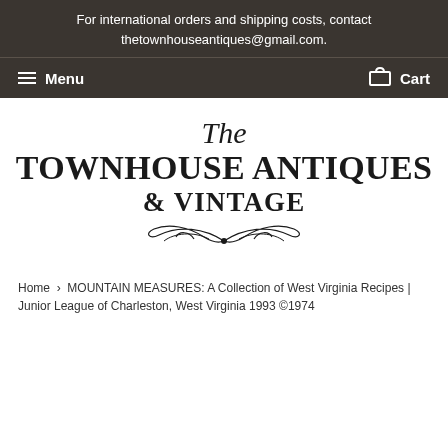For international orders and shipping costs, contact thetownhouseantiques@gmail.com.
Menu | Cart
The TOWNHOUSE ANTIQUES & VINTAGE
Home › MOUNTAIN MEASURES: A Collection of West Virginia Recipes | Junior League of Charleston, West Virginia 1993 ©1974